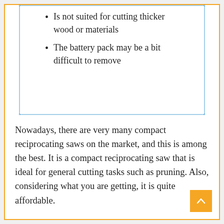Is not suited for cutting thicker wood or materials
The battery pack may be a bit difficult to remove
Nowadays, there are very many compact reciprocating saws on the market, and this is among the best. It is a compact reciprocating saw that is ideal for general cutting tasks such as pruning. Also, considering what you are getting, it is quite affordable.